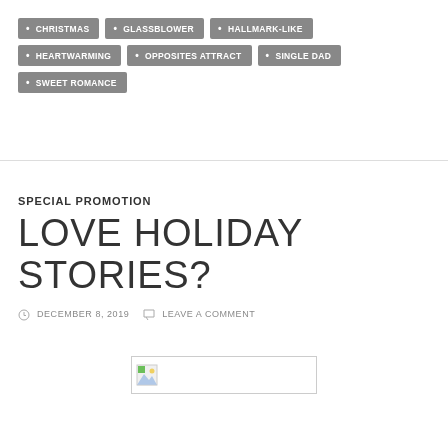CHRISTMAS
GLASSBLOWER
HALLMARK-LIKE
HEARTWARMING
OPPOSITES ATTRACT
SINGLE DAD
SWEET ROMANCE
SPECIAL PROMOTION
LOVE HOLIDAY STORIES?
DECEMBER 8, 2019   LEAVE A COMMENT
[Figure (illustration): Broken/missing image placeholder with small image icon on left side]